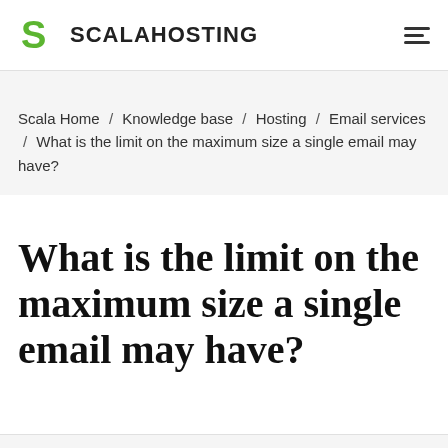SCALAHOSTING
Scala Home / Knowledge base / Hosting / Email services / What is the limit on the maximum size a single email may have?
What is the limit on the maximum size a single email may have?